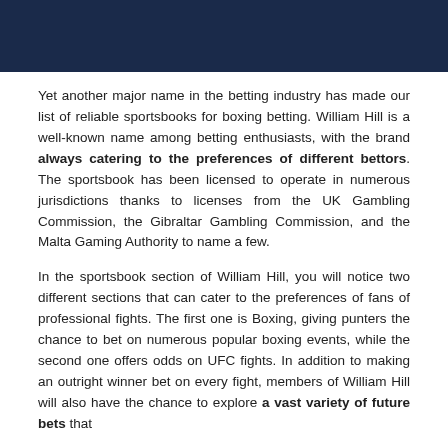[Figure (other): Dark navy blue header banner/image block]
Yet another major name in the betting industry has made our list of reliable sportsbooks for boxing betting. William Hill is a well-known name among betting enthusiasts, with the brand always catering to the preferences of different bettors. The sportsbook has been licensed to operate in numerous jurisdictions thanks to licenses from the UK Gambling Commission, the Gibraltar Gambling Commission, and the Malta Gaming Authority to name a few.
In the sportsbook section of William Hill, you will notice two different sections that can cater to the preferences of fans of professional fights. The first one is Boxing, giving punters the chance to bet on numerous popular boxing events, while the second one offers odds on UFC fights. In addition to making an outright winner bet on every fight, members of William Hill will also have the chance to explore a vast variety of future bets that